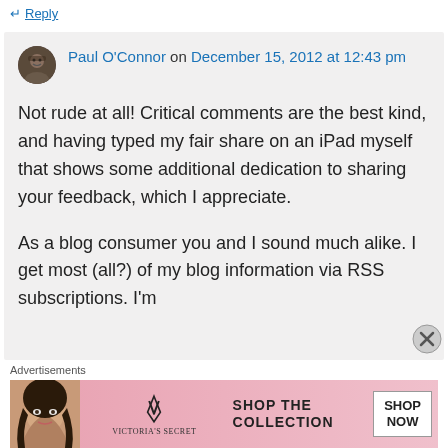→ Reply
Paul O'Connor on December 15, 2012 at 12:43 pm
Not rude at all! Critical comments are the best kind, and having typed my fair share on an iPad myself that shows some additional dedication to sharing your feedback, which I appreciate.
As a blog consumer you and I sound much alike. I get most (all?) of my blog information via RSS subscriptions. I'm
Advertisements
[Figure (advertisement): Victoria's Secret advertisement banner with woman's face, VS logo, text 'SHOP THE COLLECTION' and 'SHOP NOW' button]